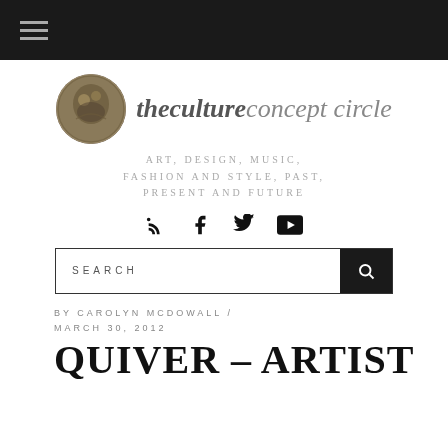Navigation bar with hamburger menu
[Figure (logo): The Culture Concept Circle logo — circular medallion coin image next to italic script text 'thecultureconcept circle']
ART, DESIGN, MUSIC, FASHION AND STYLE, PAST, PRESENT AND FUTURE
[Figure (other): Social media icons: RSS, Facebook, Twitter, YouTube]
SEARCH
BY CAROLYN MCDOWALL / MARCH 30, 2012
QUIVER – ARTIST